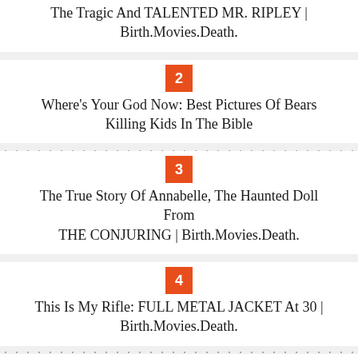The Tragic And TALENTED MR. RIPLEY | Birth.Movies.Death.
2 — Where's Your God Now: Best Pictures Of Bears Killing Kids In The Bible
3 — The True Story Of Annabelle, The Haunted Doll From THE CONJURING | Birth.Movies.Death.
4 — This Is My Rifle: FULL METAL JACKET At 30 | Birth.Movies.Death.
5 — Jason Statham Says No To TRANSPORTER 4 But Yes To THE MECHANIC 2